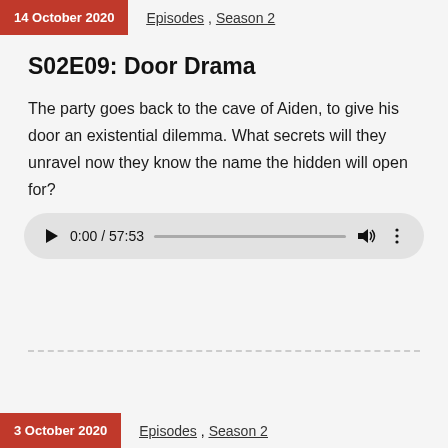14 October 2020  Episodes, Season 2
S02E09: Door Drama
The party goes back to the cave of Aiden, to give his door an existential dilemma. What secrets will they unravel now they know the name the hidden will open for?
[Figure (other): Audio player widget showing play button, time 0:00 / 57:53, progress bar, volume icon, and more options icon]
3 October 2020  Episodes, Season 2